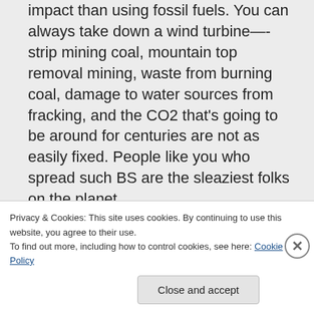impact than using fossil fuels. You can always take down a wind turbine—-strip mining coal, mountain top removal mining, waste from burning coal, damage to water sources from fracking, and the CO2 that's going to be around for centuries are not as easily fixed. People like you who spread such BS are the sleaziest folks on the planet.
Same goes for Alec—-always screaming about the VISUAL impact of turbines
Privacy & Cookies: This site uses cookies. By continuing to use this website, you agree to their use.
To find out more, including how to control cookies, see here: Cookie Policy
Close and accept